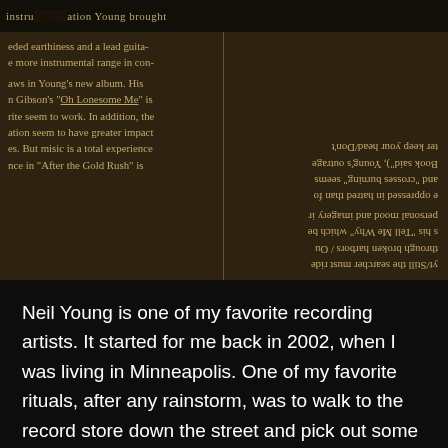[Figure (photo): Scanned newspaper clipping with two columns of text on aged sepia-toned paper. The left column discusses instrumentation and Neil Young's new album referencing 'Oh Lonesome Me', while the right column text appears mirrored/reversed discussing imagery, broken harbors, and searching. A dark header bar runs across the top.]
Neil Young is one of my favorite recording artists. It started for me back in 2002, when I was living in Minneapolis. One of my favorite rituals, after any rainstorm, was to walk to the record store down the street and pick out some Neil Young vinyl. I'd then bring it back home, open up all the windows, light some incense and listen. I swear to this day that nothing sounds better than Neil Young on vinyl!
He is an artist that I admire for his songwriting and musicianship, but also for the fact that he stands by his convictions. His latest battle with Spotify, and the removal of